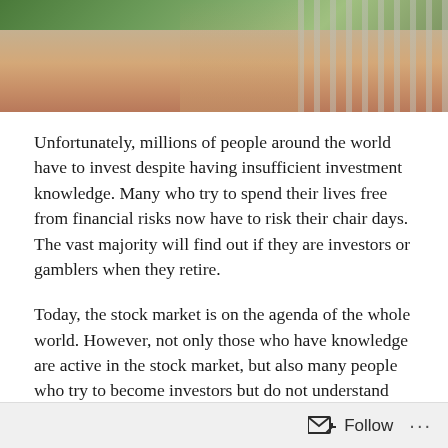[Figure (photo): Partial photo showing a person's arm and torso with a railing/fence structure in the background, greenery visible at top]
Unfortunately, millions of people around the world have to invest despite having insufficient investment knowledge. Many who try to spend their lives free from financial risks now have to risk their chair days. The vast majority will find out if they are investors or gamblers when they retire.
Today, the stock market is on the agenda of the whole world. However, not only those who have knowledge are active in the stock market, but also many people who try to become investors but do not understand investment.
Since the vast